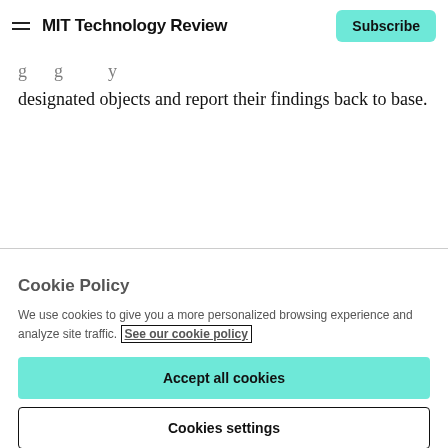MIT Technology Review | Subscribe
designated objects and report their findings back to base.
Cookie Policy
We use cookies to give you a more personalized browsing experience and analyze site traffic. See our cookie policy
Accept all cookies
Cookies settings